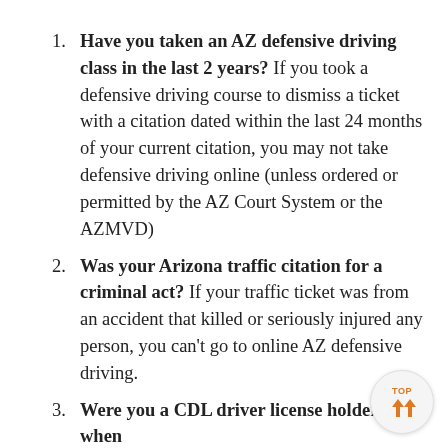Have you taken an AZ defensive driving class in the last 2 years? If you took a defensive driving course to dismiss a ticket with a citation dated within the last 24 months of your current citation, you may not take defensive driving online (unless ordered or permitted by the AZ Court System or the AZMVD)
Was your Arizona traffic citation for a criminal act? If your traffic ticket was from an accident that killed or seriously injured any person, you can't go to online AZ defensive driving.
Were you a CDL driver license holder when